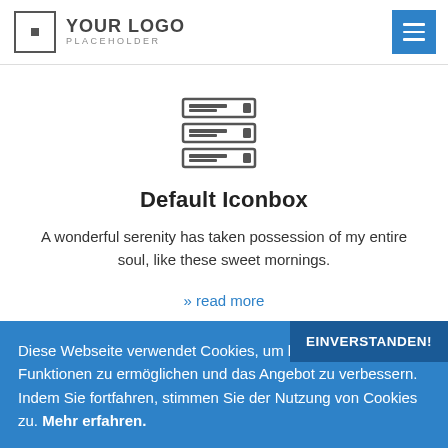[Figure (logo): YOUR LOGO PLACEHOLDER with small square box logo on the left and hamburger menu button (blue) on the right]
[Figure (illustration): Server/database stack icon made of three horizontal rectangular server units]
Default Iconbox
A wonderful serenity has taken possession of my entire soul, like these sweet mornings.
» read more
Diese Webseite verwendet Cookies, um bestimmte Funktionen zu ermöglichen und das Angebot zu verbessern. Indem Sie fortfahren, stimmen Sie der Nutzung von Cookies zu. Mehr erfahren.
EINVERSTANDEN!